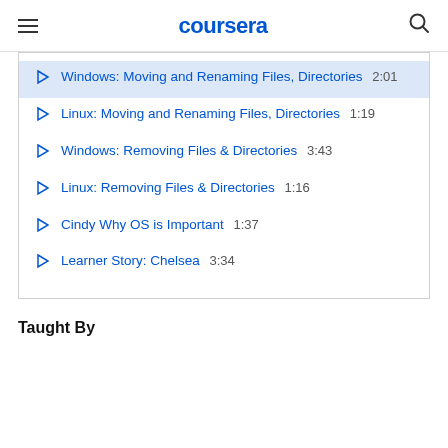coursera
Windows: Moving and Renaming Files, Directories  2:01
Linux: Moving and Renaming Files, Directories  1:19
Windows: Removing Files & Directories  3:43
Linux: Removing Files & Directories  1:16
Cindy Why OS is Important  1:37
Learner Story: Chelsea  3:34
Taught By